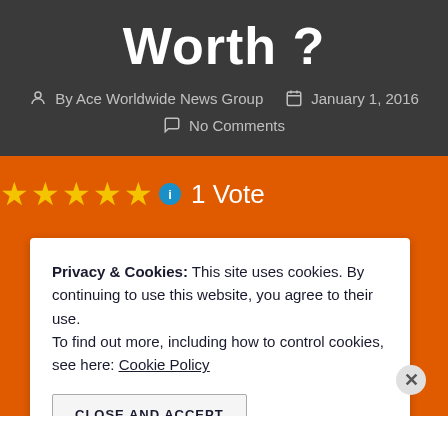Worth ?
By Ace Worldwide News Group   January 1, 2016
No Comments
★★★★★ ℹ 1 Vote
Privacy & Cookies: This site uses cookies. By continuing to use this website, you agree to their use. To find out more, including how to control cookies, see here: Cookie Policy
CLOSE AND ACCEPT